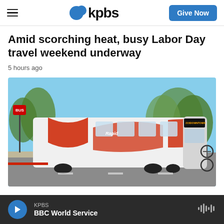kpbs | Give Now
Amid scorching heat, busy Labor Day travel weekend underway
5 hours ago
[Figure (photo): A red and white articulated rapid transit bus labeled '215 DOWNTOWN' on a tree-lined road, with a bicycle mounted on the front rack. The bus displays 'Rapid' branding.]
KPBS | BBC World Service